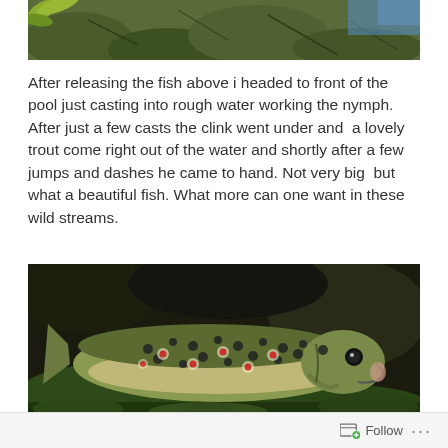[Figure (photo): Top portion of a photo showing underwater rocks with green/yellow and blue tones, partially cropped]
After releasing the fish above i headed to front of the pool just casting into rough water working the nymph. After just a few casts the clink went under and  a lovely trout come right out of the water and shortly after a few jumps and dashes he came to hand. Not very big  but what a beautiful fish. What more can one want in these wild streams.
[Figure (photo): A brown trout lying on rocks and moss by a stream, with visible spots including red spots, an open mouth, and dark background vegetation]
Follow ...